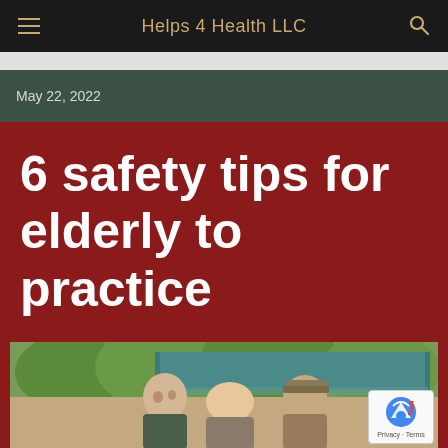Helps 4 Health LLC
May 22, 2022
6 safety tips for elderly to practice
[Figure (photo): Elderly people socializing outdoors under a teal canopy tent, with green trees in the background. A reCAPTCHA badge appears in the bottom right corner.]